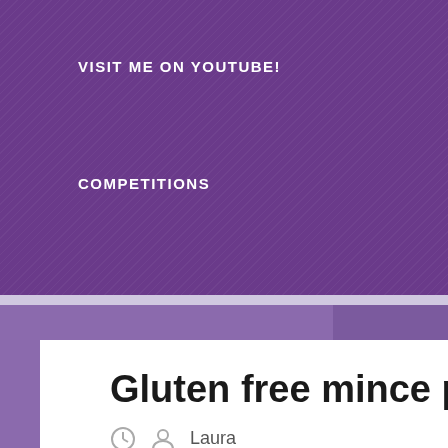VISIT ME ON YOUTUBE!
COMPETITIONS
Gluten free mince pies 2017
Laura
Tags: aldi baking Christmas food mince pies pastry vegetarian wheat free
I love mince pies so it was no chore